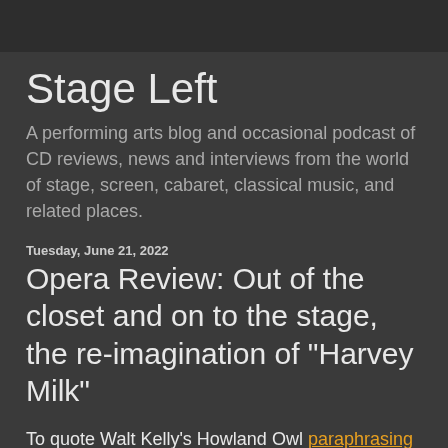Stage Left
A performing arts blog and occasional podcast of CD reviews, news and interviews from the world of stage, screen, cabaret, classical music, and related places.
Tuesday, June 21, 2022
Opera Review: Out of the closet and on to the stage, the re-imagination of "Harvey Milk"
To quote Walt Kelly's Howland Owl paraphrasing Kipling, "the tumult and shouting has died." After being postponed for two years due to the pandemic the third and leanest version of Stewart Wallace and Michael Korie's 1995 opera "Harvey